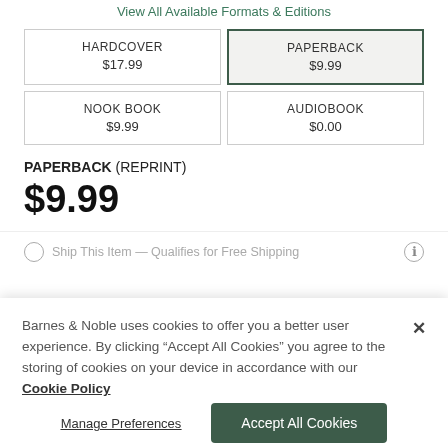View All Available Formats & Editions
| HARDCOVER
$17.99 | PAPERBACK
$9.99 |
| NOOK BOOK
$9.99 | AUDIOBOOK
$0.00 |
PAPERBACK (REPRINT)
$9.99
Ship This Item — Qualifies for Free Shipping
Barnes & Noble uses cookies to offer you a better user experience. By clicking "Accept All Cookies" you agree to the storing of cookies on your device in accordance with our Cookie Policy
Manage Preferences
Accept All Cookies